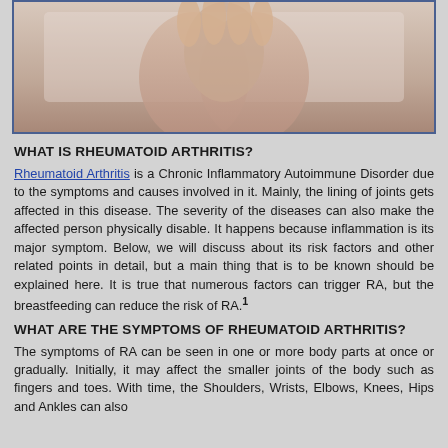[Figure (photo): Photo of elderly person's hands raised near face, possibly showing arthritis or pain]
WHAT IS RHEUMATOID ARTHRITIS?
Rheumatoid Arthritis is a Chronic Inflammatory Autoimmune Disorder due to the symptoms and causes involved in it. Mainly, the lining of joints gets affected in this disease. The severity of the diseases can also make the affected person physically disable. It happens because inflammation is its major symptom. Below, we will discuss about its risk factors and other related points in detail, but a main thing that is to be known should be explained here. It is true that numerous factors can trigger RA, but the breastfeeding can reduce the risk of RA.¹
WHAT ARE THE SYMPTOMS OF RHEUMATOID ARTHRITIS?
The symptoms of RA can be seen in one or more body parts at once or gradually. Initially, it may affect the smaller joints of the body such as fingers and toes. With time, the Shoulders, Wrists, Elbows, Knees, Hips and Ankles can also